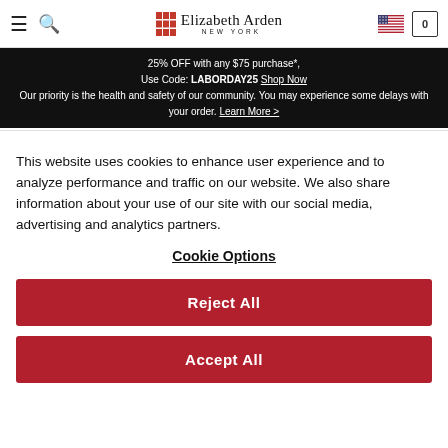Elizabeth Arden New York navigation bar with hamburger menu, search icon, logo, US flag, and cart icon
25% OFF with any $75 purchase*, Use Code: LABORDAY25. Shop Now. Our priority is the health and safety of our community. You may experience some delays with your order. Learn More >
OFFERS
This website uses cookies to enhance user experience and to analyze performance and traffic on our website. We also share information about your use of our site with our social media, advertising and analytics partners.
Cookie Options
Reject All
Accept All